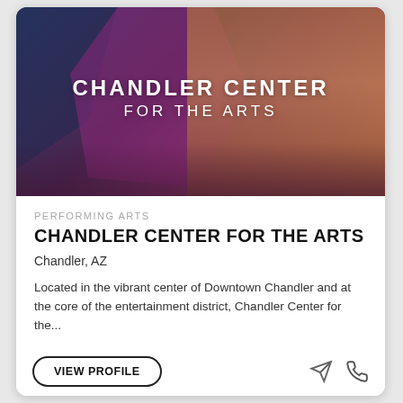[Figure (photo): Exterior photo of Chandler Center for the Arts building at night with purple and pink overlays, people in the foreground, and illuminated glass facade]
PERFORMING ARTS
CHANDLER CENTER FOR THE ARTS
Chandler, AZ
Located in the vibrant center of Downtown Chandler and at the core of the entertainment district, Chandler Center for the...
VIEW PROFILE